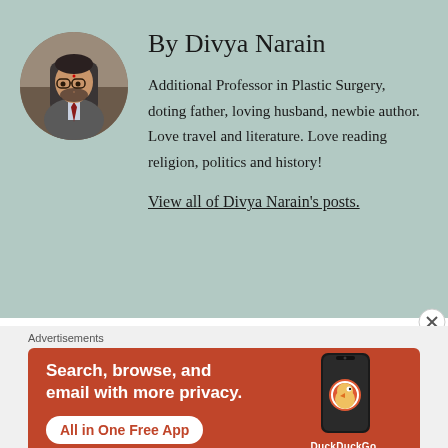[Figure (photo): Circular profile photo of Divya Narain, a man wearing glasses and a suit with tie, seated in an office chair]
By Divya Narain
Additional Professor in Plastic Surgery, doting father, loving husband, newbie author. Love travel and literature. Love reading religion, politics and history!
View all of Divya Narain's posts.
Advertisements
[Figure (screenshot): DuckDuckGo advertisement banner on orange/red background. Text: 'Search, browse, and email with more privacy. All in One Free App' with DuckDuckGo logo and phone image.]